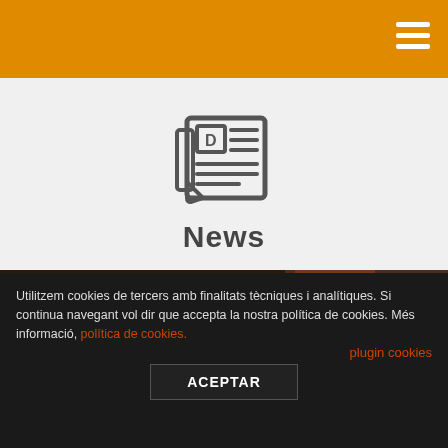News
[Figure (photo): Three people partially visible from shoulders up, appearing at the bottom of the frame against a dark background with wooden panel elements]
Utilitzem cookies de tercers amb finalitats tècniques i analítiques. Si continua navegant vol dir que accepta la nostra política de cookies. Més informació, política de cookies.
plugin cookies
ACEPTAR